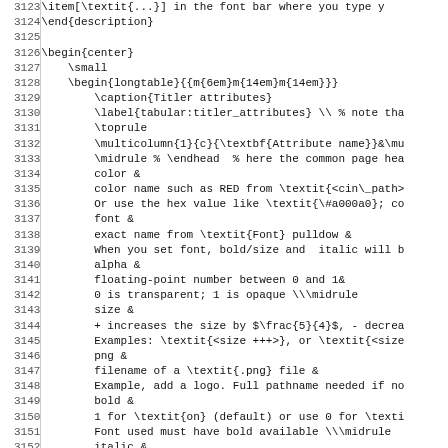LaTeX source code lines 3123-3155 showing longtable environment for Titler attributes
3123: \item[\textit{...}] in the font bar where you type y
3124: \end{description}
3125: (blank)
3126: \begin{center}
3127:     \small
3128:     \begin{longtable}{{m{6em}m{14em}m{14em}}}
3129:         \caption{Titler attributes}
3130:         \label{tabular:titler_attributes} \\ % note tha
3131:         \toprule
3132:         \multicolumn{1}{c}{\textbf{Attribute name}}&\mu
3133:         \midrule % \endhead  % here the common page hea
3134:         color &
3135:         color name such as RED from \textit{<cin\_path>
3136:         Or use the hex value like \textit{\#a000a0}; co
3137:         font &
3138:         exact name from \textit{Font} pulldow &
3139:         When you set font, bold/size and  italic will b
3140:         alpha &
3141:         floating-point number between 0 and 1&
3142:         0 is transparent; 1 is opaque \\\midrule
3143:         size &
3144:         + increases the size by $\frac{5}{4}$, - decrea
3145:         Examples: \textit{<size +++>}, or \textit{<size
3146:         png &
3147:         filename of a \textit{.png} file &
3148:         Example, add a logo. Full pathname needed if no
3149:         bold &
3150:         1 for \textit{on} (default) or use 0 for \texti
3151:         Font used must have bold available \\\midrule
3152:         italic &
3153:         1 for \textit{on} (default) or use 0 for \texti
3154:         Font must have italic already set up \\\midrule
3155:         blink &